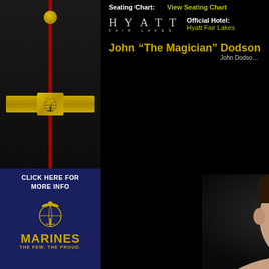[Figure (photo): US Marine Corps dress uniform close-up showing gold Eagle Globe and Anchor belt buckle, gold hat button, red stripe, and black uniform]
[Figure (illustration): US Marines recruitment advertisement with navy blue background, Eagle Globe and Anchor logo, text CLICK HERE FOR MORE INFO, MARINES THE FEW. THE PROUD.]
Seating Chart:
View Seating Chart
[Figure (logo): Hyatt Fair Lakes hotel logo]
Official Hotel:
Hyatt Fair Lakes
John “The Magician” Dodson
John Dodson
[Figure (photo): Headshot portrait of John Dodson, a young mixed martial arts fighter, looking directly at camera against dark background]